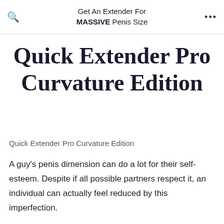Get An Extender For MASSIVE Penis Size
Quick Extender Pro Curvature Edition
Quick Extender Pro Curvature Edition
A guy's penis dimension can do a lot for their self-esteem. Despite if all possible partners respect it, an individual can actually feel reduced by this imperfection.